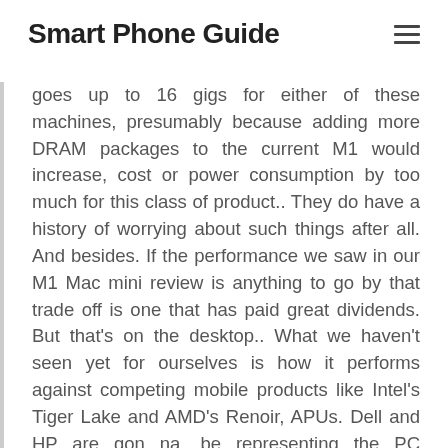Smart Phone Guide
goes up to 16 gigs for either of these machines, presumably because adding more DRAM packages to the current M1 would increase, cost or power consumption by too much for this class of product.. They do have a history of worrying about such things after all. And besides. If the performance we saw in our M1 Mac mini review is anything to go by that trade off is one that has paid great dividends. But that's on the desktop.. What we haven't seen yet for ourselves is how it performs against competing mobile products like Intel's Tiger Lake and AMD's Renoir, APUs. Dell and HP are gon na, be representing the PC competition.. And we also threw a 15 inch HP OMEN gaming laptop in there in case The M1 gets too fast to compare to anything in its